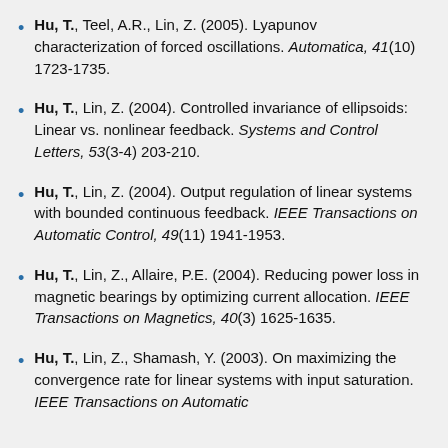Hu, T., Teel, A.R., Lin, Z. (2005). Lyapunov characterization of forced oscillations. Automatica, 41(10) 1723-1735.
Hu, T., Lin, Z. (2004). Controlled invariance of ellipsoids: Linear vs. nonlinear feedback. Systems and Control Letters, 53(3-4) 203-210.
Hu, T., Lin, Z. (2004). Output regulation of linear systems with bounded continuous feedback. IEEE Transactions on Automatic Control, 49(11) 1941-1953.
Hu, T., Lin, Z., Allaire, P.E. (2004). Reducing power loss in magnetic bearings by optimizing current allocation. IEEE Transactions on Magnetics, 40(3) 1625-1635.
Hu, T., Lin, Z., Shamash, Y. (2003). On maximizing the convergence rate for linear systems with input saturation. IEEE Transactions on Automatic Control, ...